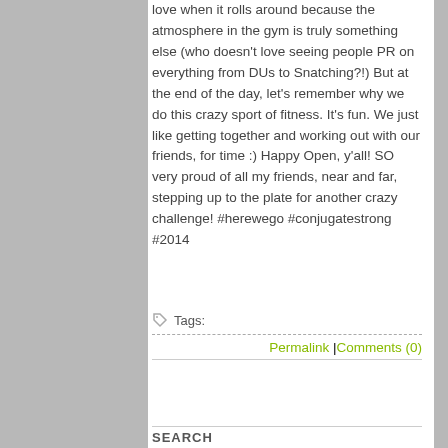love when it rolls around because the atmosphere in the gym is truly something else (who doesn't love seeing people PR on everything from DUs to Snatching?!)  But at the end of the day, let's remember why we do this crazy sport of fitness.  It's fun.  We just like getting together and working out with our friends, for time :) Happy Open, y'all!  SO very proud of all my friends, near and far, stepping up to the plate for another crazy challenge! #herewego #conjugatestrong #2014
Tags:
Permalink | Comments (0)
SEARCH